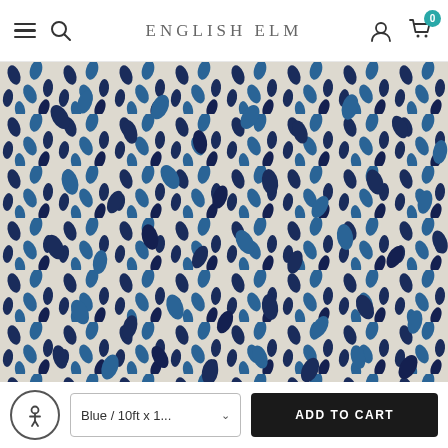ENGLISH ELM
[Figure (photo): Close-up photograph of a decorative fabric/rug with a repeating leaf pattern in navy blue and medium blue tones on a cream/white background.]
Blue / 10ft x 1...
ADD TO CART